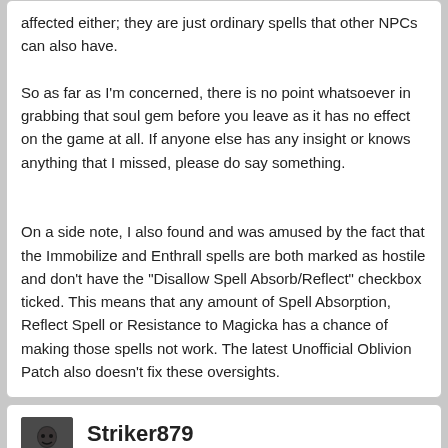affected either; they are just ordinary spells that other NPCs can also have.

So as far as I'm concerned, there is no point whatsoever in grabbing that soul gem before you leave as it has no effect on the game at all. If anyone else has any insight or knows anything that I missed, please do say something.

On a side note, I also found and was amused by the fact that the Immobilize and Enthrall spells are both marked as hostile and don't have the "Disallow Spell Absorb/Reflect" checkbox ticked. This means that any amount of Spell Absorption, Reflect Spell or Resistance to Magicka has a chance of making those spells not work. The latest Unofficial Oblivion Patch also doesn't fix these oversights.
Striker879
25 Sep 2020
The UESP Wiki page Oblivion:Confront the King has about all that I know of the quest and little about the Colossal Soul Gem (just covering what you have already uncovered).

Bethesda has a script that they themselves tend to follow — it ends